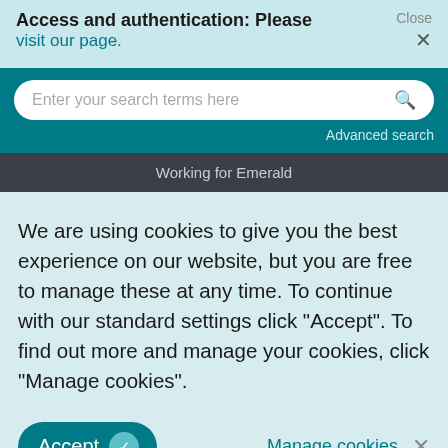Access and authentication: Please visit our page.
[Figure (screenshot): Teal search bar with text 'Enter your search terms here' and a search icon, with 'Advanced search' link below]
Working for Emerald
We are using cookies to give you the best experience on our website, but you are free to manage these at any time. To continue with our standard settings click "Accept". To find out more and manage your cookies, click "Manage cookies".
Accept   Manage cookies
COVID-19 policy
Accessibility